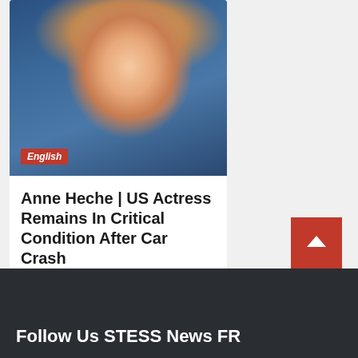[Figure (photo): Photo of Anne Heche, a blonde woman smiling, in front of a blue background. A red 'English' badge is overlaid at the bottom left of the image.]
Anne Heche | US Actress Remains In Critical Condition After Car Crash
2 weeks ago  Jessica Cardiny
Follow Us STESS News FR